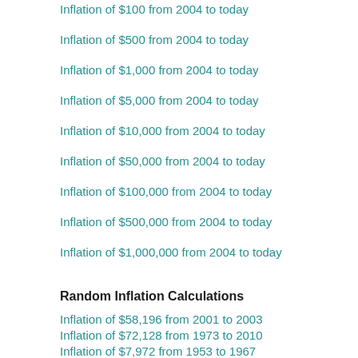Inflation of $100 from 2004 to today
Inflation of $500 from 2004 to today
Inflation of $1,000 from 2004 to today
Inflation of $5,000 from 2004 to today
Inflation of $10,000 from 2004 to today
Inflation of $50,000 from 2004 to today
Inflation of $100,000 from 2004 to today
Inflation of $500,000 from 2004 to today
Inflation of $1,000,000 from 2004 to today
Random Inflation Calculations
Inflation of $58,196 from 2001 to 2003
Inflation of $72,128 from 1973 to 2010
Inflation of $7,972 from 1953 to 1967
Inflation of $94,371 from 1967 to 2013
Inflation of $72,372 from 1957 to 2005
Inflation of $61,307 from 2014 to today